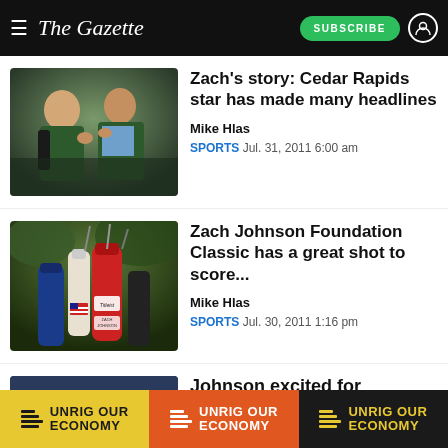The Gazette
[Figure (photo): Two men in green jackets, one placing jacket on the other]
Zach's story: Cedar Rapids star has made many headlines
Mike Hlas
SPORTS Jul. 31, 2011 6:00 am
[Figure (photo): Golf bags including a Zach Johnson branded bag at a tournament]
Zach Johnson Foundation Classic has a great shot to score...
Mike Hlas
SPORTS Jul. 30, 2011 1:16 pm
[Figure (photo): Partial view of third article image]
Johnson excited for
[Figure (infographic): UNRIG OUR ECONOMY advertisement banner appearing three times]